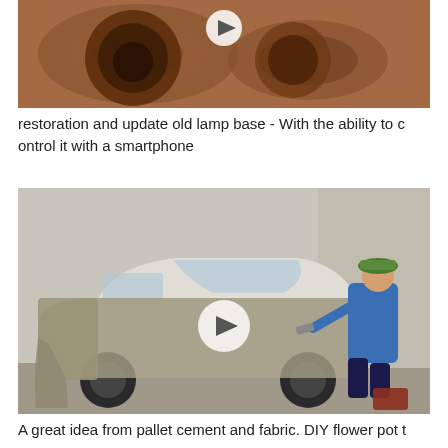[Figure (photo): Close-up photo of a wooden lamp base (dark reddish-brown wood), with a play button icon overlay in the top center.]
restoration and update old lamp base - With the ability to control it with a smartphone
[Figure (photo): A man in a blue uniform and green hat applies cement/concrete mixture with a trowel over the hood and front of a small white hatchback car parked outside. A play button icon is overlaid in the center.]
A great idea from pallet cement and fabric. DIY flower pot t